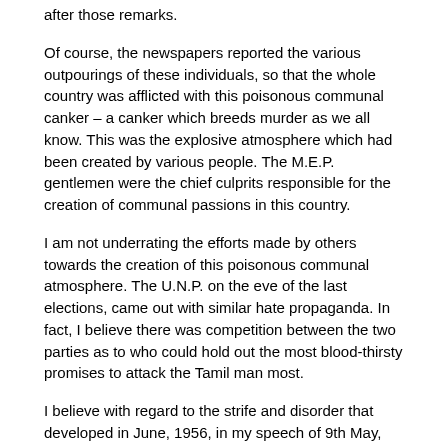after those remarks.
Of course, the newspapers reported the various outpourings of these individuals, so that the whole country was afflicted with this poisonous communal canker – a canker which breeds murder as we all know. This was the explosive atmosphere which had been created by various people. The M.E.P. gentlemen were the chief culprits responsible for the creation of communal passions in this country.
I am not underrating the efforts made by others towards the creation of this poisonous communal atmosphere. The U.N.P. on the eve of the last elections, came out with similar hate propaganda. In fact, I believe there was competition between the two parties as to who could hold out the most blood-thirsty promises to attack the Tamil man most.
I believe with regard to the strife and disorder that developed in June, 1956, in my speech of 9th May, 1956, I quoted copious extracts from the speeches made by Sir Ukwatte Jayasundere, Sir John Kotelawala and various other U.N.P. leaders about the Tamils. I also quoted speeches made by Members of the M.E.P. Government. I do not desire to repeat those quotations. Any hon. Senator interest in them can look up my speech and read the newspaper quotations of speeches made by various communists.